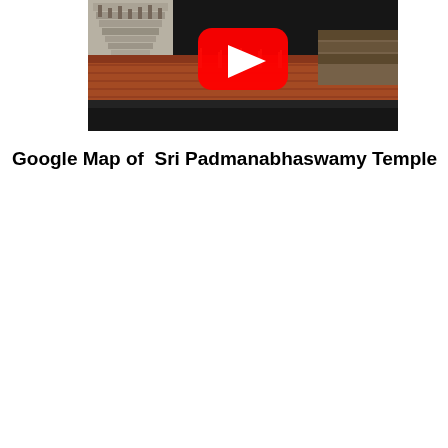[Figure (screenshot): YouTube video thumbnail showing Sri Padmanabhaswamy Temple with a red YouTube play button overlay. The image shows the temple's tiered gopuram (tower) and orange/terracotta roof structures against a backdrop of the ornate temple architecture.]
Google Map of  Sri Padmanabhaswamy Temple